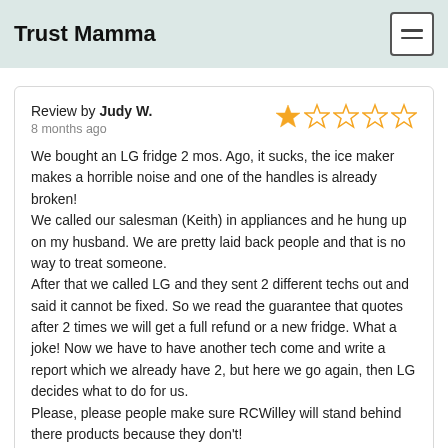Trust Mamma
Review by Judy W.
8 months ago

We bought an LG fridge 2 mos. Ago, it sucks, the ice maker makes a horrible noise and one of the handles is already broken!
We called our salesman (Keith) in appliances and he hung up on my husband. We are pretty laid back people and that is no way to treat someone.
After that we called LG and they sent 2 different techs out and said it cannot be fixed. So we read the guarantee that quotes after 2 times we will get a full refund or a new fridge. What a joke! Now we have to have another tech come and write a report which we already have 2, but here we go again, then LG decides what to do for us.
Please, please people make sure RCWilley will stand behind there products because they don't!
They have lost a very good customer, and I hope many more